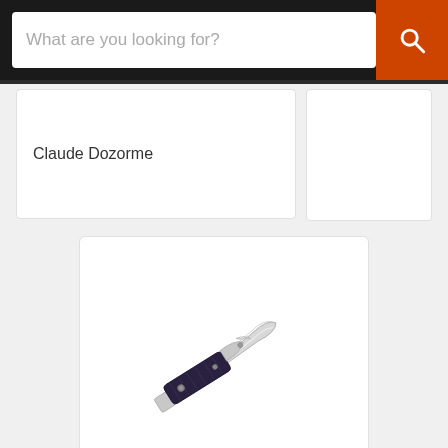What are you looking for?
Claude Dozorme
[Figure (photo): Boker Scout Cronidur Pocket Knife product photo showing an open folding knife with silver blade and dark wood/black handle with silver bolsters, oriented diagonally]
$239.00 USD
Boker Scout Cronidur Pocket Knife
Boker